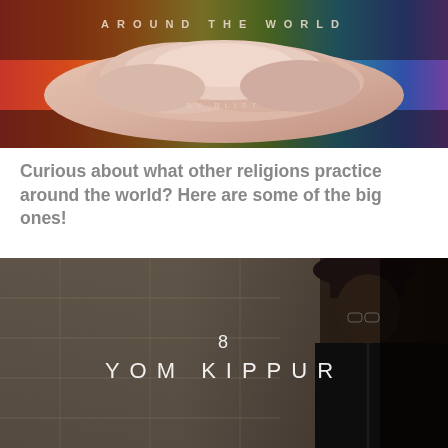[Figure (photo): Colorful banner image with clouds and rainbow colors, text 'AROUND THE WORLD BY BLIST' overlaid]
Curious about what other religions practice around the world? Here are some of the big ones!
[Figure (photo): Dark photo of a person in traditional Jewish attire at what appears to be the Western Wall, with text '8 YOM KIPPUR' overlaid in white letters]